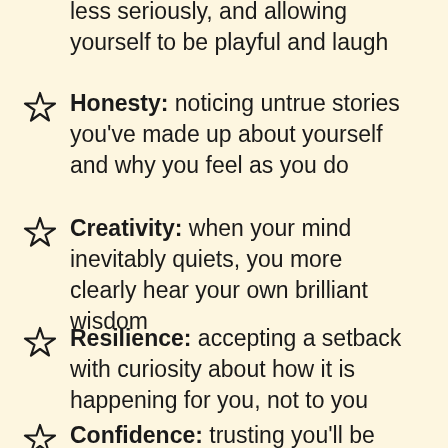less seriously, and allowing yourself to be playful and laugh
Honesty: noticing untrue stories you've made up about yourself and why you feel as you do
Creativity: when your mind inevitably quiets, you more clearly hear your own brilliant wisdom
Resilience: accepting a setback with curiosity about how it is happening for you, not to you
Confidence: trusting you'll be able